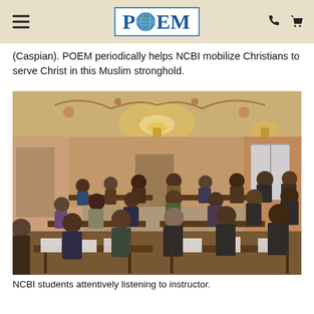POEM
(Caspian). POEM periodically helps NCBI mobilize Christians to serve Christ in this Muslim stronghold.
[Figure (photo): A classroom scene showing NCBI students seated at desks attentively listening to an instructor. The room has an ornate decorated ceiling with painted motifs. Students are arranged in rows; books and papers are on the desks. The setting appears to be a formal building with high ceilings.]
NCBI students attentively listening to instructor.